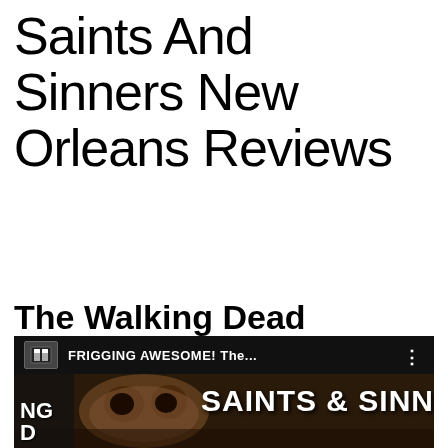Saints And Sinners New Orleans Reviews
The Walking Dead Saints and Sinners Review Trusted Reviews
[Figure (screenshot): YouTube video thumbnail showing 'FRIGGING AWESOME! The...' with Saints & Sinners game imagery including a zombie face and the text SAINTS & SINN visible, dark/black background with white text.]